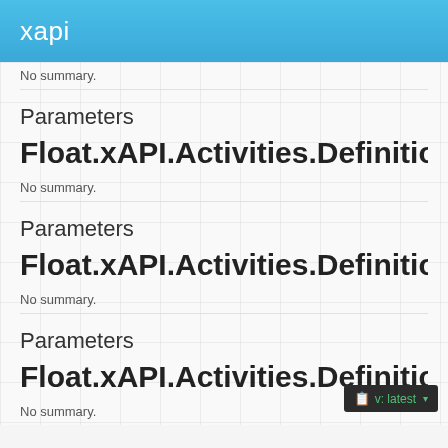xapi
No summary.
Parameters
Float.xAPI.Activities.Definitions.
No summary.
Parameters
Float.xAPI.Activities.Definitions.
No summary.
Parameters
Float.xAPI.Activities.Definitions.
No summary.